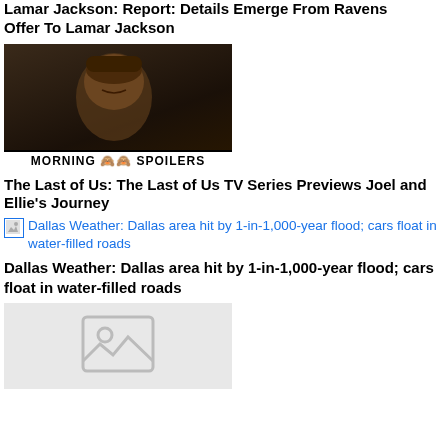Lamar Jackson: Report: Details Emerge From Ravens Offer To Lamar Jackson
[Figure (photo): Dark still from a TV show or movie showing a man's face, with 'MORNING SPOILERS' text bar at the bottom]
The Last of Us: The Last of Us TV Series Previews Joel and Ellie's Journey
Dallas Weather: Dallas area hit by 1-in-1,000-year flood; cars float in water-filled roads (linked image placeholder)
Dallas Weather: Dallas area hit by 1-in-1,000-year flood; cars float in water-filled roads
[Figure (photo): Broken/placeholder image icon for Dallas Weather article]